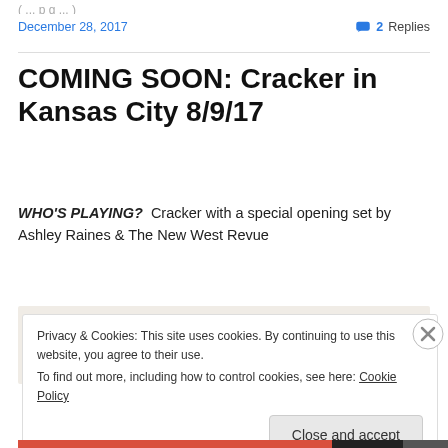December 28, 2017    2 Replies
COMING SOON: Cracker in Kansas City 8/9/17
WHO'S PLAYING?  Cracker with a special opening set by Ashley Raines & The New West Revue
[Figure (screenshot): Cookie consent banner overlay with text: Privacy & Cookies: This site uses cookies. By continuing to use this website, you agree to their use. To find out more, including how to control cookies, see here: Cookie Policy. With a Close and accept button.]